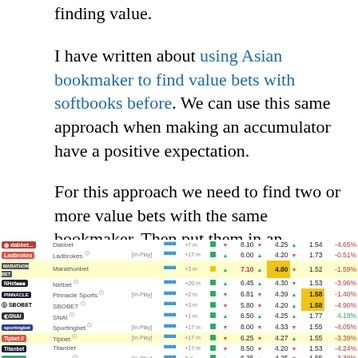finding value.
I have written about using Asian bookmaker to find value bets with softbooks before. We can use this same approach when making an accumulator have a positive expectation.
For this approach we need to find two or more value bets with the same bookmaker. Then put them in an accumulator.
[Figure (screenshot): Screenshot of a bookmaker odds comparison table showing various bookmakers (Dabbet, Ladbrokes, Marathonbet, Netbet, Pinnacle Sports, SBOBET, SNAI, Sportingbet, Tipbet, Titanbet, Unibet, Youwin) with their odds, arrows indicating movement, and percentage values.]